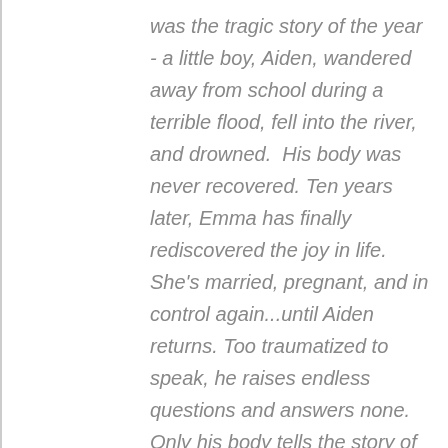was the tragic story of the year - a little boy, Aiden, wandered away from school during a terrible flood, fell into the river, and drowned.  His body was never recovered. Ten years later, Emma has finally rediscovered the joy in life. She's married, pregnant, and in control again...until Aiden returns. Too traumatized to speak, he raises endless questions and answers none. Only his body tells the story of his decade-long disappearance. The historic broken bones and injuries cast a mere glimpse into the horrors Aiden has experienced. Aiden